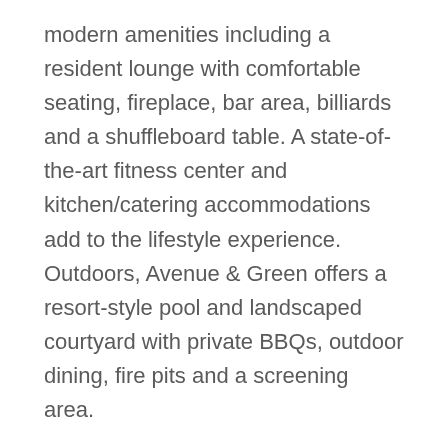modern amenities including a resident lounge with comfortable seating, fireplace, bar area, billiards and a shuffleboard table. A state-of-the-art fitness center and kitchen/catering accommodations add to the lifestyle experience. Outdoors, Avenue & Green offers a resort-style pool and landscaped courtyard with private BBQs, outdoor dining, fire pits and a screening area.
Visit AvenueandGreen.com for more information on residential leasing.
Nutley, N.J.-based Prism Capital Partners is an established leader in the redevelopment...